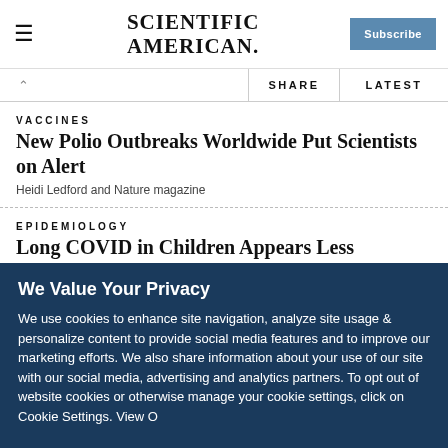SCIENTIFIC AMERICAN
SHARE   LATEST
VACCINES
New Polio Outbreaks Worldwide Put Scientists on Alert
Heidi Ledford and Nature magazine
EPIDEMIOLOGY
Long COVID in Children Appears Less Common Than Early Fears Suggested
Shannon Hall
We Value Your Privacy
We use cookies to enhance site navigation, analyze site usage & personalize content to provide social media features and to improve our marketing efforts. We also share information about your use of our site with our social media, advertising and analytics partners. To opt out of website cookies or otherwise manage your cookie settings, click on Cookie Settings. View Our